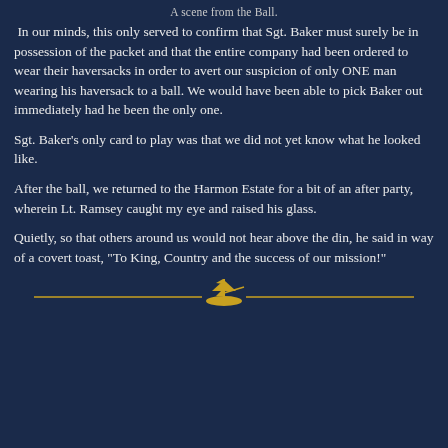A scene from the Ball.
In our minds, this only served to confirm that Sgt. Baker must surely be in possession of the packet and that the entire company had been ordered to wear their haversacks in order to avert our suspicion of only ONE man wearing his haversack to a ball. We would have been able to pick Baker out immediately had he been the only one.
Sgt. Baker's only card to play was that we did not yet know what he looked like.
After the ball, we returned to the Harmon Estate for a bit of an after party, wherein Lt. Ramsey caught my eye and raised his glass.
Quietly, so that others around us would not hear above the din, he said in way of a covert toast, "To King, Country and the success of our mission!"
[Figure (illustration): Decorative divider with golden horizontal lines and a central ship emblem in gold]